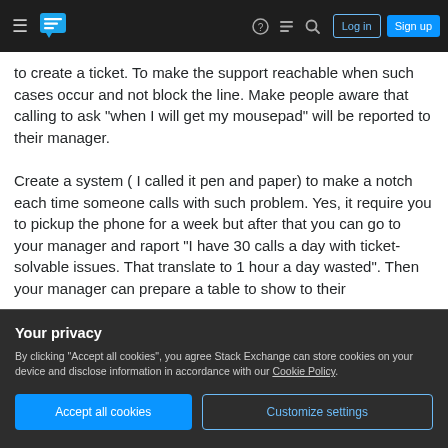Stack Exchange navigation bar with hamburger menu, logo, help, chat, search icons, Log in and Sign up buttons
to create a ticket. To make the support reachable when such cases occur and not block the line. Make people aware that calling to ask "when I will get my mousepad" will be reported to their manager.

Create a system ( I called it pen and paper) to make a notch each time someone calls with such problem. Yes, it require you to pickup the phone for a week but after that you can go to your manager and raport "I have 30 calls a day with ticket-solvable issues. That translate to 1 hour a day wasted". Then your manager can prepare a table to show to their
Your privacy
By clicking "Accept all cookies", you agree Stack Exchange can store cookies on your device and disclose information in accordance with our Cookie Policy.
Accept all cookies  Customize settings